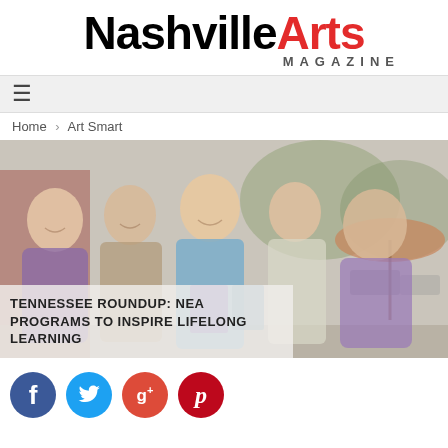Nashville Arts MAGAZINE
≡
Home > Art Smart
[Figure (photo): Group of five smiling tween/teenage girls posing together outdoors, some holding books. Red brick building and an umbrella visible in the background.]
TENNESSEE ROUNDUP: NEA PROGRAMS TO INSPIRE LIFELONG LEARNING
[Figure (infographic): Social sharing icons: Facebook (blue circle with f), Twitter (light blue circle with bird), Google+ (red circle with g+), Pinterest (red circle with p)]